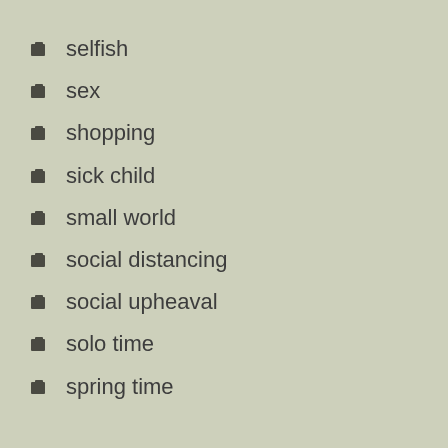selfish
sex
shopping
sick child
small world
social distancing
social upheaval
solo time
spring time